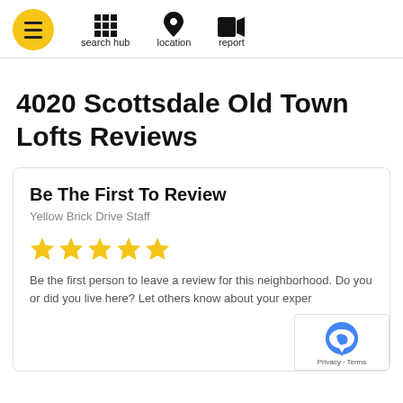search hub | location | report
4020 Scottsdale Old Town Lofts Reviews
Be The First To Review
Yellow Brick Drive Staff
Be the first person to leave a review for this neighborhood. Do you or did you live here? Let others know about your exper